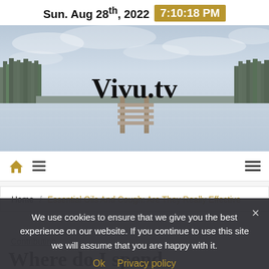Sun. Aug 28th, 2022  7:10:18 PM
[Figure (photo): Hero banner image showing a serene winter lake scene with a wooden dock extending into calm water, surrounded by pine trees under a cloudy sky. The website logo 'Vivu.tv' is overlaid in large bold serif font.]
[Figure (other): Navigation bar with home icon (gold house), hamburger menu icon (left), and hamburger menu icon (right)]
Home / Essential Oils And Cough: Are They Really Effective
We use cookies to ensure that we give you the best experience on our website. If you continue to use this site we will assume that you are happy with it.
Ok  Privacy policy
Contributing
Where do I spend